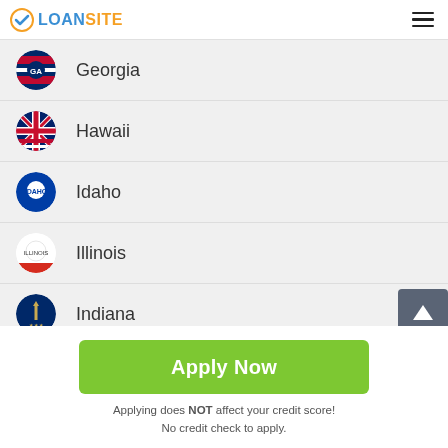LOANSITE
Georgia
Hawaii
Idaho
Illinois
Indiana
(Iowa — partially visible)
Apply Now
Applying does NOT affect your credit score!
No credit check to apply.